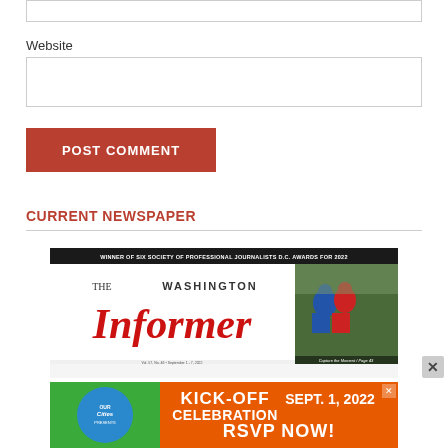Website
[Figure (screenshot): Text input box for website URL field]
[Figure (illustration): Red POST COMMENT button]
CURRENT NEWSPAPER
[Figure (photo): The Washington Informer newspaper front page - Vol. 57, No. 46, September 1-7, 2022. Banner reads WINNER OF SIX SOCIETY OF PROFESSIONAL JOURNALISTS D.C. AWARDS FOR 2022. Shows boxing photo with caption Capture the Moment / Page 43.]
[Figure (infographic): Advertisement banner: KICK-OFF CELEBRATION SEPT. 1, 2022 RSVP NOW! with circular logo on left and orange/green background.]